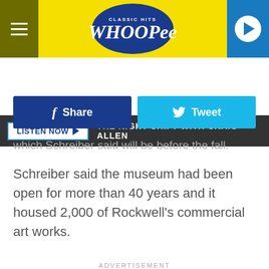[Figure (screenshot): Classic Hits Whoopee radio station header logo on yellow background with hamburger menu on left and play button on right]
LISTEN NOW ▶   THE NIGHT SHIFT WITH CRAIG ALLEN
[Figure (screenshot): Facebook Share button (blue) and Twitter Tweet button (cyan)]
which Schreiber said will be before the fall.
Schreiber said the museum had been open for more than 40 years and it housed 2,000 of Rockwell's commercial art works.
ADVERTISEMENT